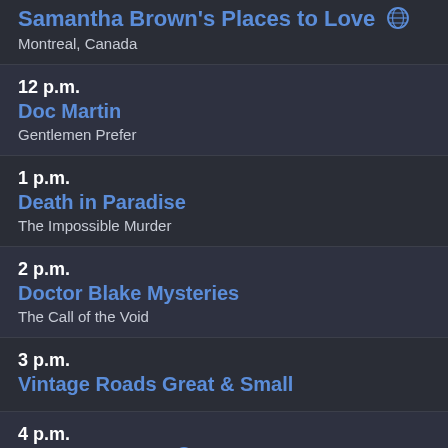11:... p.m. Samantha Brown's Places to Love - Montreal, Canada
12 p.m. Doc Martin - Gentlemen Prefer
1 p.m. Death in Paradise - The Impossible Murder
2 p.m. Doctor Blake Mysteries - The Call of the Void
3 p.m. Vintage Roads Great & Small
4 p.m. PBS Newshour